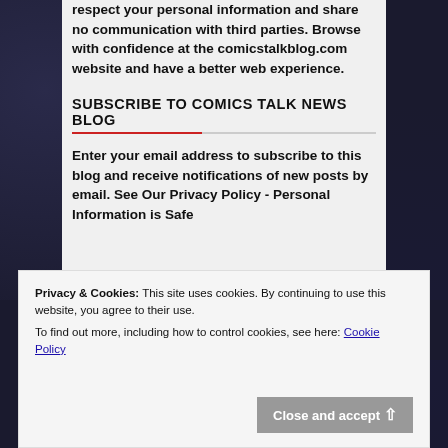respect your personal information and share no communication with third parties. Browse with confidence at the comicstalkblog.com website and have a better web experience.
SUBSCRIBE TO COMICS TALK NEWS BLOG
Enter your email address to subscribe to this blog and receive notifications of new posts by email. See Our Privacy Policy - Personal Information is Safe
We use cookies on our website to give you the most
Privacy & Cookies: This site uses cookies. By continuing to use this website, you agree to their use.
To find out more, including how to control cookies, see here: Cookie Policy
Close and accept